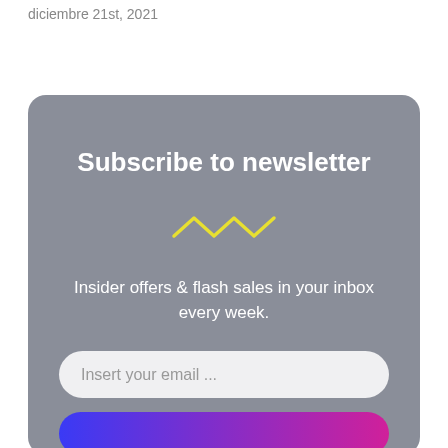diciembre 21st, 2021
[Figure (screenshot): Newsletter subscription card with gray rounded background, title 'Subscribe to newsletter', yellow squiggle decoration, body text 'Insider offers & flash sales in your inbox every week.', an email input field, and a gradient subscribe button.]